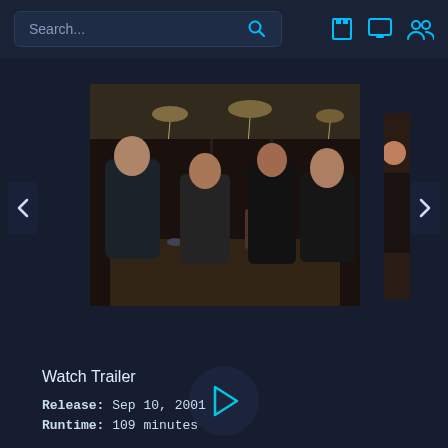Search...
[Figure (photo): Carousel showing a scene with elderly men sitting at a bar or restaurant table, with chandeliers and mirrored walls in the background. A partial side image is visible on the right edge. Navigation arrows on left and right.]
Watch Trailer
[Figure (other): Circular play button with cyan triangle icon on dark background]
Release: Sep 10, 2001
Runtime: 109 minutes